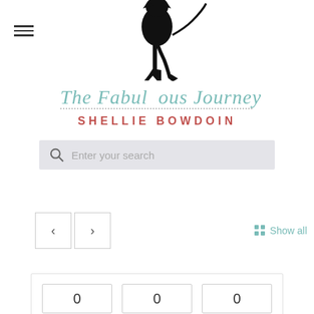[Figure (logo): The Fabulous Journey by Shellie Bowdoin logo — stylized cat silhouette with high heels and script/serif text]
[Figure (screenshot): Search bar with magnifying glass icon and placeholder text 'Enter your search']
[Figure (screenshot): Navigation arrows (< >) and 'Show all' link with grid icon]
[Figure (screenshot): Social share widget showing three count boxes each showing '0', chevrons, and Share / Tweet / Pin buttons]